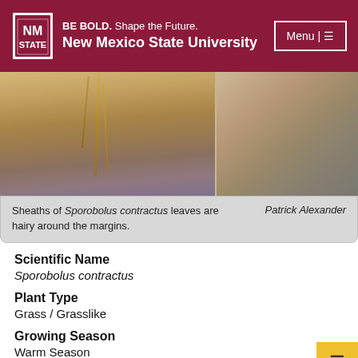BE BOLD. Shape the Future. New Mexico State University
[Figure (photo): Two photographs showing sheaths of Sporobolus contractus grass leaves, with dried stalks visible against a blurred brownish background.]
Sheaths of Sporobolus contractus leaves are hairy around the margins. Patrick Alexander
Scientific Name
Sporobolus contractus
Plant Type
Grass / Grasslike
Growing Season
Warm Season
Stem Placement